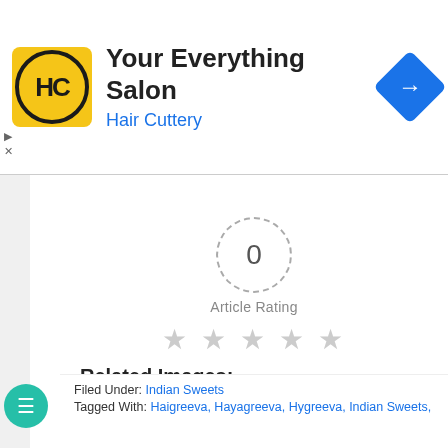[Figure (screenshot): Hair Cuttery 'Your Everything Salon' advertisement banner with HC logo in yellow circle, navigation arrow button, and play/close controls]
[Figure (infographic): Article rating section showing '0' in dashed circle with 'Article Rating' label and five empty grey stars]
Related Images:
[Figure (photo): Grid of 7 thumbnail images showing Indian sweets and food items]
Filed Under: Indian Sweets
Tagged With: Haigreeva, Hayagreeva, Hygreeva, Indian Sweets,